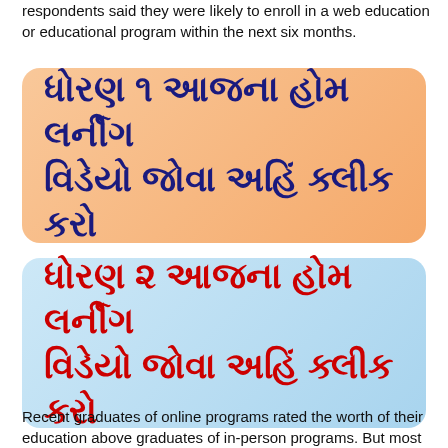respondents said they were likely to enroll in a web education or educational program within the next six months.
[Figure (illustration): Rounded rectangle button with peach/orange gradient background containing Gujarati text in dark navy blue bold font: ધોરણ ૧ આજના હોમ લર્નીંગ વિડેયો જોવા અહિં ક્લીક કરો]
[Figure (illustration): Rounded rectangle button with light blue gradient background containing Gujarati text in red bold font: ધોરણ ૨ આજના હોમ લર્નીંગ વિડેયો જોવા અહિં ક્લીક કરો]
Recent graduates of online programs rated the worth of their education above graduates of in-person programs. But most